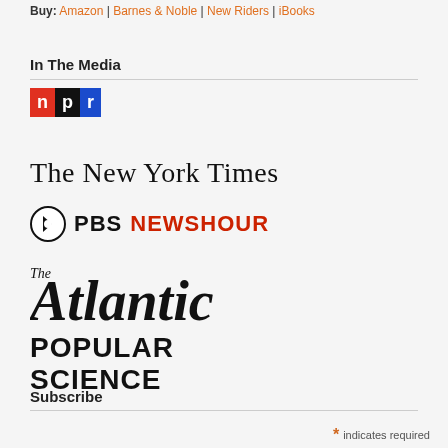Buy: Amazon | Barnes & Noble | New Riders | iBooks
In The Media
[Figure (logo): NPR logo with red, black, and blue letter blocks]
[Figure (logo): The New York Times logo in blackletter serif font]
[Figure (logo): PBS NewsHour logo with PBS circle icon and red NEWSHOUR text]
[Figure (logo): The Atlantic logo in italic serif script]
[Figure (logo): Popular Science bold uppercase logo]
Subscribe
* indicates required